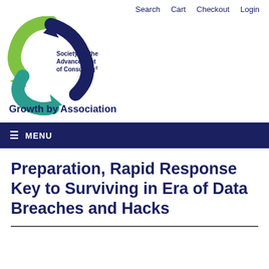Search   Cart   Checkout   Login
[Figure (logo): Society for the Advancement of Consulting circular arrow logo with green, teal, and dark blue arrows, and text 'Society for the Advancement of Consulting®' and tagline 'Growth by Association']
≡ MENU
Preparation, Rapid Response Key to Surviving in Era of Data Breaches and Hacks